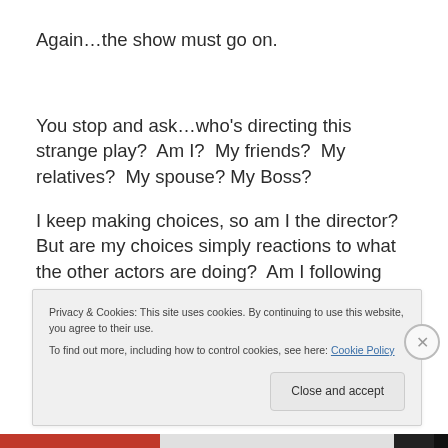Again…the show must go on.
You stop and ask…who's directing this strange play?  Am I?  My friends?  My relatives?  My spouse? My Boss?
I keep making choices, so am I the director? But are my choices simply reactions to what the other actors are doing?  Am I following the right script? Who did these
Privacy & Cookies: This site uses cookies. By continuing to use this website, you agree to their use.
To find out more, including how to control cookies, see here: Cookie Policy
Close and accept